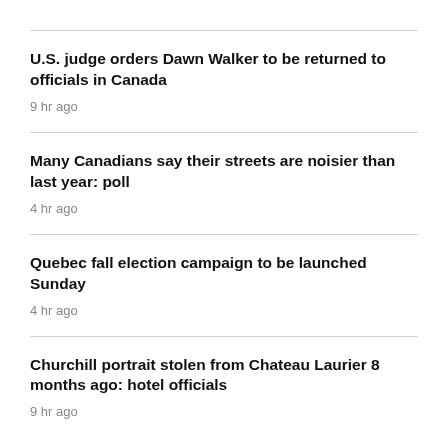U.S. judge orders Dawn Walker to be returned to officials in Canada
9 hr ago
Many Canadians say their streets are noisier than last year: poll
4 hr ago
Quebec fall election campaign to be launched Sunday
4 hr ago
Churchill portrait stolen from Chateau Laurier 8 months ago: hotel officials
9 hr ago